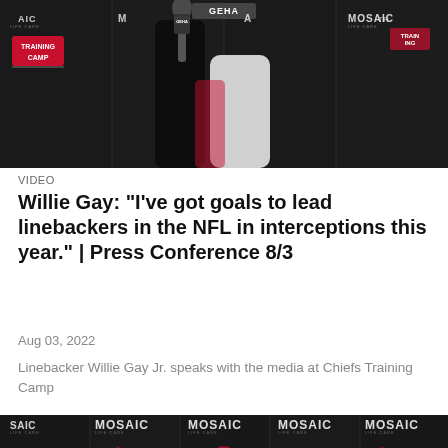[Figure (photo): A football player at a press conference holding a GEHA microphone, wearing a white sleeve, against a backdrop with Training Camp and MOSAIC sponsor logos]
VIDEO
Willie Gay: "I've got goals to lead linebackers in the NFL in interceptions this year." | Press Conference 8/3
Aug 03, 2022
Linebacker Willie Gay Jr. speaks with the media at Chiefs Training Camp
[Figure (screenshot): A coach wearing a red Chiefs polo shirt and cap standing at a press conference podium against a backdrop with MOSAIC and SAIC sponsor logos, with a play button overlay indicating a video]